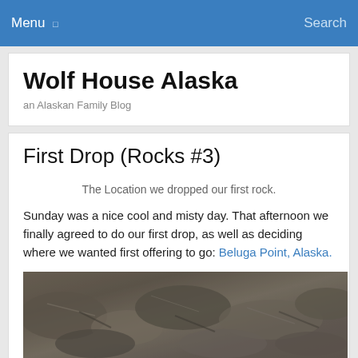Menu  Search
Wolf House Alaska
an Alaskan Family Blog
First Drop (Rocks #3)
The Location we dropped our first rock.
Sunday was a nice cool and misty day. That afternoon we finally agreed to do our first drop, as well as deciding where we wanted first offering to go: Beluga Point, Alaska.
[Figure (photo): Close-up photograph of rocks/stones at Beluga Point, Alaska, showing gray and brown rocky terrain]